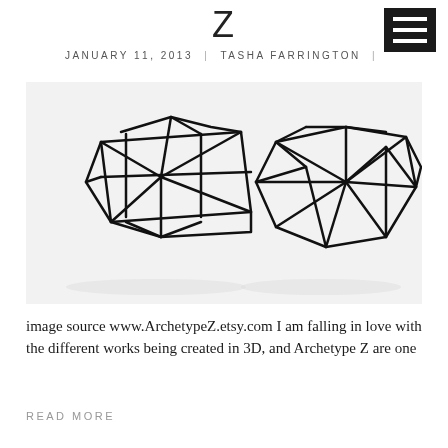Z
JANUARY 11, 2013  |  TASHA FARRINGTON  |
[Figure (photo): Two black 3D-printed geometric wireframe cuff bracelets with triangular lattice structure, photographed on a white background. Left bracelet is more angular/rectangular; right bracelet is more round/open. Both are matte black with dramatic geometric framework.]
image source www.ArchetypeZ.etsy.com I am falling in love with the different works being created in 3D, and Archetype Z are one
READ MORE